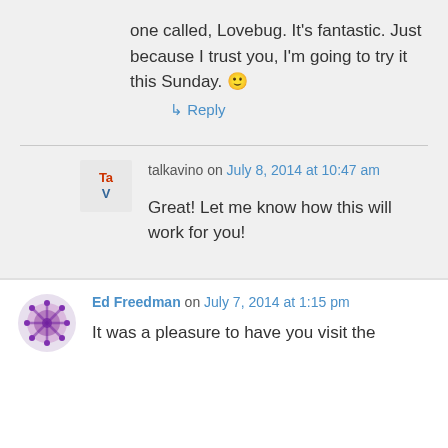one called, Lovebug. It's fantastic. Just because I trust you, I'm going to try it this Sunday. 🙂
↳ Reply
talkavino on July 8, 2014 at 10:47 am
Great! Let me know how this will work for you!
Ed Freedman on July 7, 2014 at 1:15 pm
It was a pleasure to have you visit the